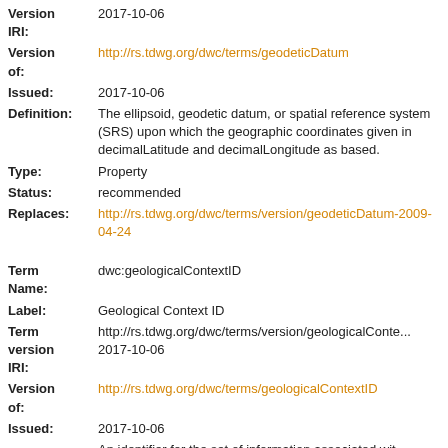Version IRI: 2017-10-06
Version of: http://rs.tdwg.org/dwc/terms/geodeticDatum
Issued: 2017-10-06
Definition: The ellipsoid, geodetic datum, or spatial reference system (SRS) upon which the geographic coordinates given in decimalLatitude and decimalLongitude as based.
Type: Property
Status: recommended
Replaces: http://rs.tdwg.org/dwc/terms/version/geodeticDatum-2009-04-24
Term Name: dwc:geologicalContextID
Label: Geological Context ID
Term version IRI: http://rs.tdwg.org/dwc/terms/version/geologicalContextID-2017-10-06
Version of: http://rs.tdwg.org/dwc/terms/geologicalContextID
Issued: 2017-10-06
An identifier for the set of information associated with...